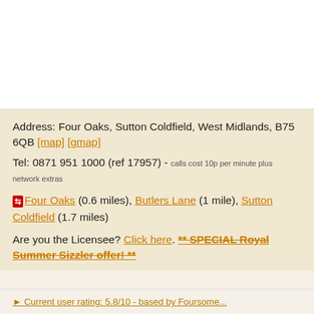Address: Four Oaks, Sutton Coldfield, West Midlands, B75 6QB [map] [gmap]
Tel: 0871 951 1000 (ref 17957) - calls cost 10p per minute plus network extras
[rail icon] Four Oaks (0.6 miles), Butlers Lane (1 mile), Sutton Coldfield (1.7 miles)
Are you the Licensee? Click here. ** SPECIAL Royal Summer Sizzler offer! **
Current user rating: 5.8/10 - based by Foursome...